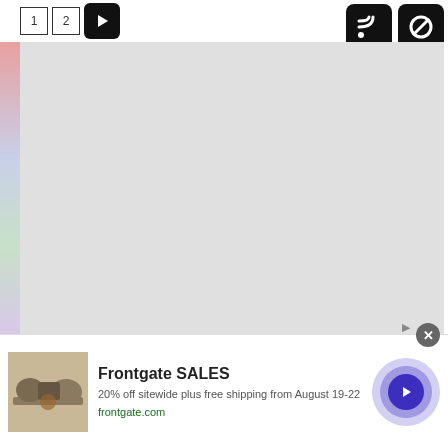[Figure (screenshot): Navigation controls: page number buttons '1' and '2' in outlined boxes, a black rounded play/next button with right-pointing triangle, and two black icon boxes on right side (RSS/signal icon and a circle-slash icon)]
[Figure (other): Large gray empty content area filling the middle of the page]
[Figure (screenshot): Advertisement banner at bottom: outdoor furniture photo on left, 'Frontgate SALES' bold title, '20% off sitewide plus free shipping from August 19-22' description, 'frontgate.com' URL in green, large purple circle button with white chevron arrow on right, small close X button and ad indicator arrow at top-right of banner]